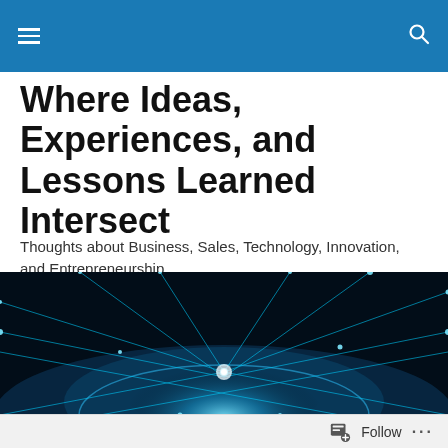Navigation header bar with menu and search icons
Where Ideas, Experiences, and Lessons Learned Intersect
Thoughts about Business, Sales, Technology, Innovation, and Entrepreneurship.
[Figure (photo): Globe with glowing network connections against dark background, viewed from space with cyan/blue light lines]
MONTHLY ARCHIVES: APRIL 2021
Follow ...